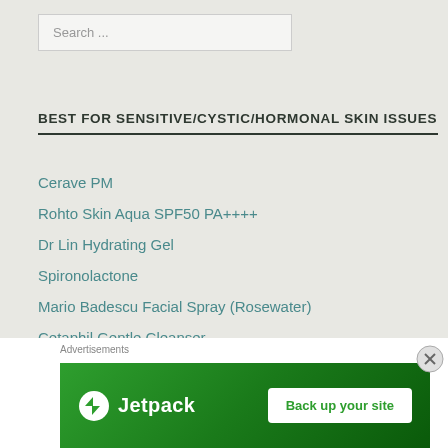Search ...
BEST FOR SENSITIVE/CYSTIC/HORMONAL SKIN ISSUES
Cerave PM
Rohto Skin Aqua SPF50 PA++++
Dr Lin Hydrating Gel
Spironolactone
Mario Badescu Facial Spray (Rosewater)
Cetaphil Gentle Cleanser
CATEGORIES
[Figure (other): Advertisements banner - Jetpack: Back up your site]